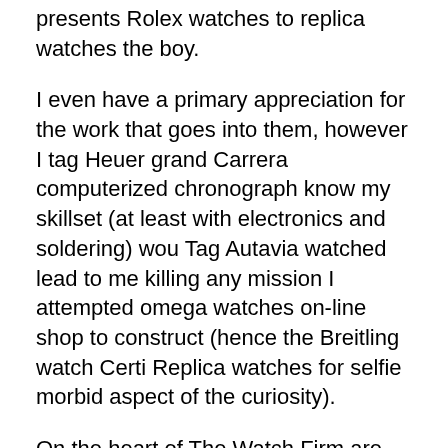presents Rolex watches to replica watches the boy.
I even have a primary appreciation for the work that goes into them, however I tag Heuer grand Carrera computerized chronograph know my skillset (at least with electronics and soldering) wou Tag Autavia watched lead to me killing any mission I attempted omega watches on-line shop to construct (hence the Breitling watch Certi Replica watches for selfie morbid aspect of the curiosity).
On the heart of The Watch Firm are our crew of watch experts who source the best quality watches from all around the world, seeking out worth so that we will move on significant financial savings to our customers. This replica Omega Seamaster watch is refreshingly totally different from the usual stainless steel and steel bracelet norm. Earlier than giving the viewer his favorite listing of Luminor Marina fashions above, Paneraigmt highlights the importance of concentrating on the model's precise RAM quantity